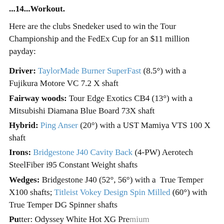...14...Workout.
Here are the clubs Snedeker used to win the Tour Championship and the FedEx Cup for an $11 million payday:
Driver: TaylorMade Burner SuperFast (8.5°) with a Fujikura Motore VC 7.2 X shaft
Fairway woods: Tour Edge Exotics CB4 (13°) with a Mitsubishi Diamana Blue Board 73X shaft
Hybrid: Ping Anser (20°) with a UST Mamiya VTS 100 X shaft
Irons: Bridgestone J40 Cavity Back (4-PW) Aerotech SteelFiber i95 Constant Weight shafts
Wedges: Bridgestone J40 (52°, 56°) with a True Temper X100 shafts; Titleist Vokey Design Spin Milled (60°) with True Temper DG Spinner shafts
Putter: Odyssey White Hot XG Premium...